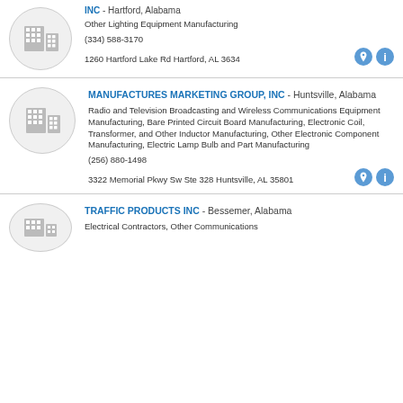INC - Hartford, Alabama | Other Lighting Equipment Manufacturing | (334) 588-3170 | 1260 Hartford Lake Rd Hartford, AL 3634
MANUFACTURES MARKETING GROUP, INC - Huntsville, Alabama | Radio and Television Broadcasting and Wireless Communications Equipment Manufacturing, Bare Printed Circuit Board Manufacturing, Electronic Coil, Transformer, and Other Inductor Manufacturing, Other Electronic Component Manufacturing, Electric Lamp Bulb and Part Manufacturing | (256) 880-1498 | 3322 Memorial Pkwy Sw Ste 328 Huntsville, AL 35801
TRAFFIC PRODUCTS INC - Bessemer, Alabama | Electrical Contractors, Other Communications